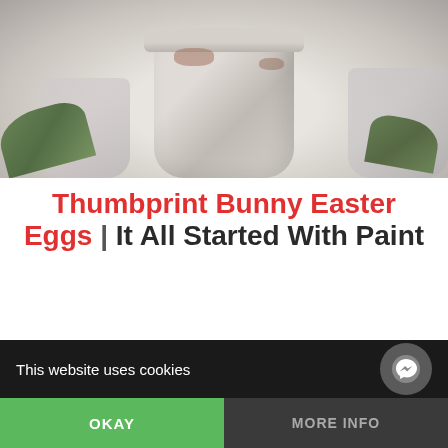[Figure (photo): Whitewashed/chalk-painted terracotta pots with brown rust patches, surrounded by scattered greenery/herbs on a light surface]
Thumbprint Bunny Easter Eggs | It All Started With Paint
[Figure (photo): Partial view of a pink watercolor rose with green leaves at the bottom of the page]
This website uses cookies
OKAY
MORE INFO